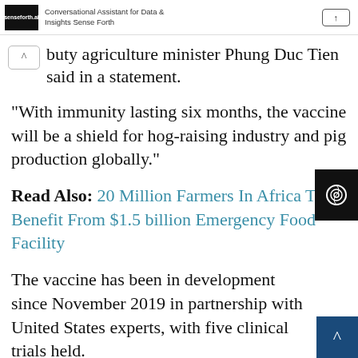Conversational Assistant for Data & Insights Sense Forth
buty agriculture minister Phung Duc Tien said in a statement.
“With immunity lasting six months, the vaccine will be a shield for hog-raising industry and pig production globally.”
Read Also: 20 Million Farmers In Africa To Benefit From $1.5 billion Emergency Food Facility
The vaccine has been in development since November 2019 in partnership with United States experts, with five clinical trials held.